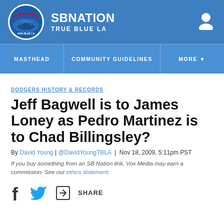SB NATION — TRUE BLUE LA
MASTHEAD | COMMUNITY GUIDELINES | MORE
DODGERS HISTORY & RECORDS
Jeff Bagwell is to James Loney as Pedro Martinez is to Chad Billingsley?
By David Young | @DavidYoungTBLA | Nov 18, 2009, 5:11pm PST
If you buy something from an SB Nation link, Vox Media may earn a commission. See our ethics statement.
SHARE